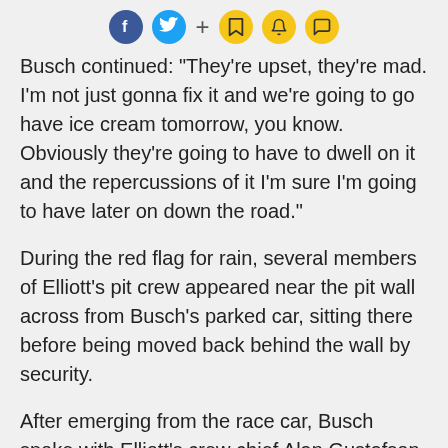Social sharing icons: Facebook, Twitter, +, bookmark, bell, chat
Busch continued: "They're upset, they're mad. I'm not just gonna fix it and we're going to go have ice cream tomorrow, you know. Obviously they're going to have to dwell on it and the repercussions of it I'm sure I'm going to have later on down the road."
During the red flag for rain, several members of Elliott's pit crew appeared near the pit wall across from Busch's parked car, sitting there before being moved back behind the wall by security.
After emerging from the race car, Busch spoke with Elliott's crew chief Alan Gustafson. The two have a history as Gustafson spent time as Busch's crew chief from 2005 to 2007.